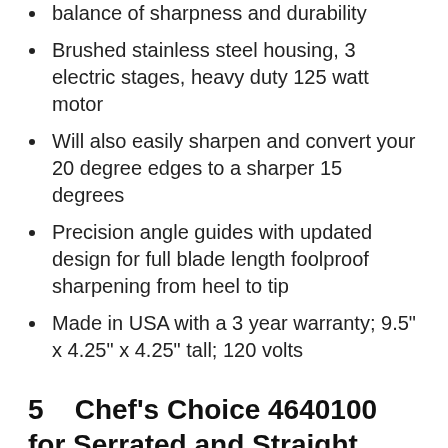balance of sharpness and durability
Brushed stainless steel housing, 3 electric stages, heavy duty 125 watt motor
Will also easily sharpen and convert your 20 degree edges to a sharper 15 degrees
Precision angle guides with updated design for full blade length foolproof sharpening from heel to tip
Made in USA with a 3 year warranty; 9.5" x 4.25" x 4.25" tall; 120 volts
5 Chef's Choice 4640100 for Serrated and Straight Knives Diamond Abrasives Easy and Secure Grip Compact Design, 2-